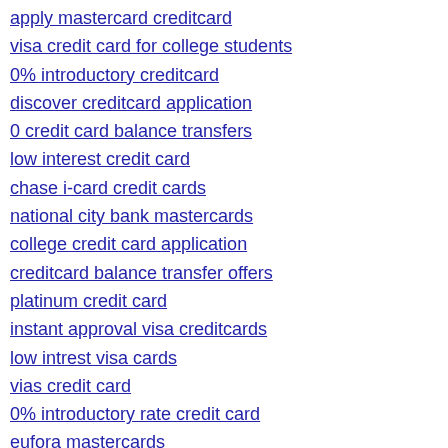apply mastercard creditcard
visa credit card for college students
0% introductory creditcard
discover creditcard application
0 credit card balance transfers
low interest credit card
chase i-card credit cards
national city bank mastercards
college credit card application
creditcard balance transfer offers
platinum credit card
instant approval visa creditcards
low intrest visa cards
vias credit card
0% introductory rate credit card
eufora mastercards
online guarantee credit cards